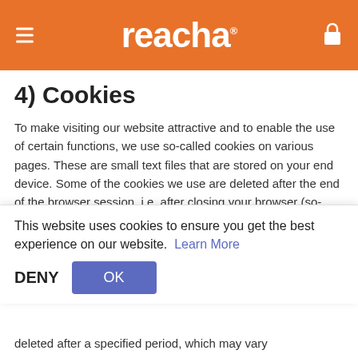reacha
4) Cookies
To make visiting our website attractive and to enable the use of certain functions, we use so-called cookies on various pages. These are small text files that are stored on your end device. Some of the cookies we use are deleted after the end of the browser session, i.e. after closing your browser (so-called session cookies). Other cookies remain on your terminal and enable us or our partner companies (third-party cookies) to recognize your browser on your next visit (persistent cookies). If
This website uses cookies to ensure you get the best experience on our website.  Learn More
DENY  OK
deleted after a specified period, which may vary